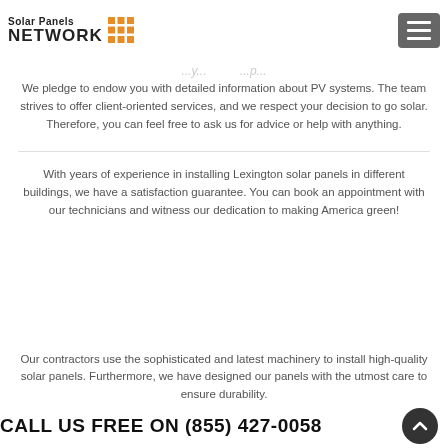Solar Panels NETWORK
...y...p...
We pledge to endow you with detailed information about PV systems. The team strives to offer client-oriented services, and we respect your decision to go solar. Therefore, you can feel free to ask us for advice or help with anything.
With years of experience in installing Lexington solar panels in different buildings, we have a satisfaction guarantee. You can book an appointment with our technicians and witness our dedication to making America green!
Our contractors use the sophisticated and latest machinery to install high-quality solar panels. Furthermore, we have designed our panels with the utmost care to ensure durability.
CALL US FREE ON (855) 427-0058